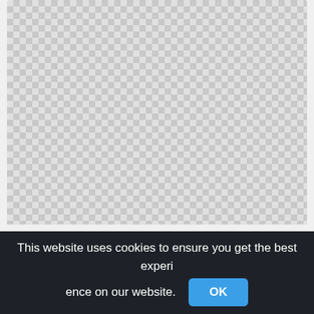[Figure (other): Transparent/checkerboard background image placeholder (top card)]
Maracas Png Download, Maraca Instrument Transparent png
6030x4020px
[Figure (other): Transparent/checkerboard background image placeholder (bottom card)]
This website uses cookies to ensure you get the best experience on our website.